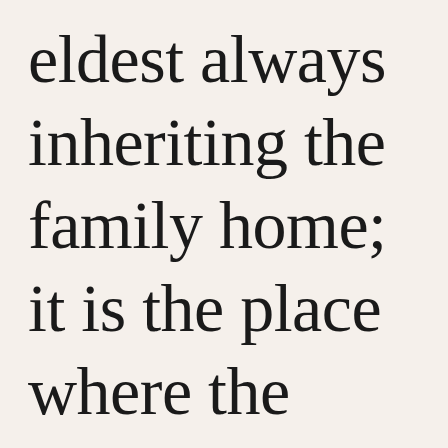eldest always inheriting the family home; it is the place where the whole family gathers for